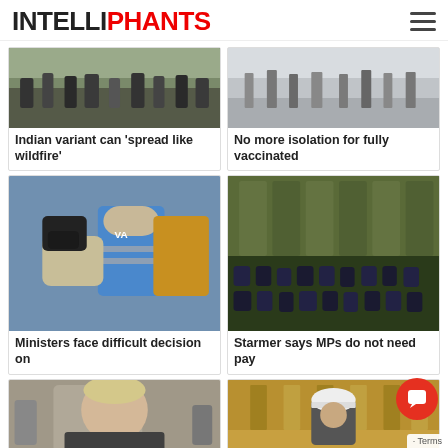INTELLIPHANTS
[Figure (photo): Crowd of people on a street]
Indian variant can 'spread like wildfire'
[Figure (photo): People in a shopping mall or public space]
No more isolation for fully vaccinated
[Figure (photo): Young person receiving a vaccine from a healthcare worker in blue vest]
Ministers face difficult decision on
[Figure (photo): UK Parliament chamber with MPs seated]
Starmer says MPs do not need pay
[Figure (photo): Boris Johnson]
[Figure (photo): Construction worker in hard hat at ornate building]